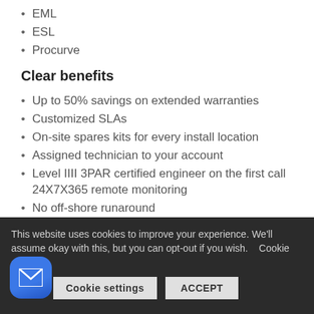EML
ESL
Procurve
Clear benefits
Up to 50% savings on extended warranties
Customized SLAs
On-site spares kits for every install location
Assigned technician to your account
Level IIII 3PAR certified engineer on the first call 24X7X365 remote monitoring
No off-shore runaround
This website uses cookies to improve your experience. We'll assume okay with this, but you can opt-out if you wish.    Cookie settings    ACCEPT